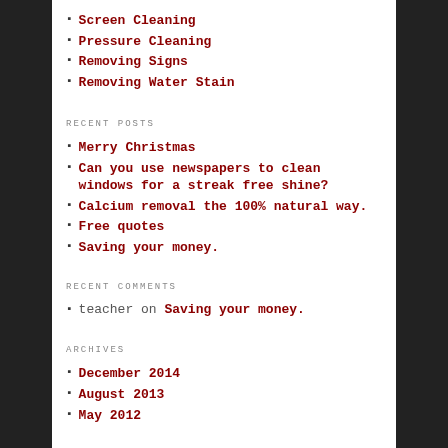Screen Cleaning
Pressure Cleaning
Removing Signs
Removing Water Stain
RECENT POSTS
Merry Christmas
Can you use newspapers to clean windows for a streak free shine?
Calcium removal the 100% natural way.
Free quotes
Saving your money.
RECENT COMMENTS
teacher on Saving your money.
ARCHIVES
December 2014
August 2013
May 2012